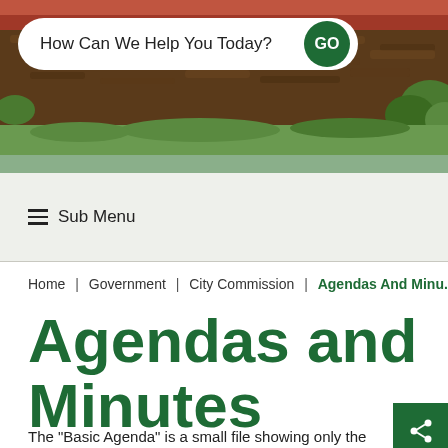[Figure (photo): Outdoor photo showing mulched garden bed with brick wall and green plants]
How Can We Help You Today?
Sub Menu
Home | Government | City Commission | Agendas And Minu...
Agendas and Minutes
The "Basic Agenda" is a small file showing only the